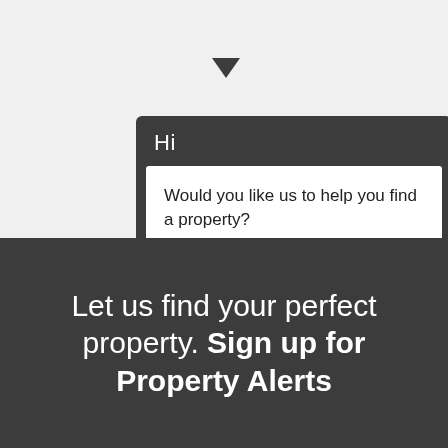[Figure (screenshot): A dialog box popup with dark gray header showing 'Hi', a white body area with the text 'Would you like us to help you find a property?' and a dark rounded 'Yes' button, with a downward pointing tail at the bottom of the dialog.]
Let us find your perfect property. Sign up for Property Alerts